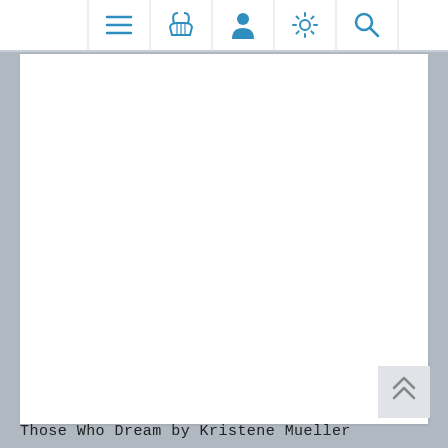[Figure (screenshot): Website navigation bar with icons: hamburger menu, shopping basket, user profile, settings gear, and search magnifier, all in blue on white background]
Those Who Dream by Kristene Mueller